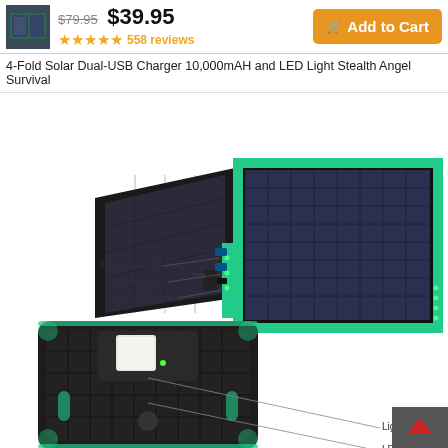$79.95  $39.95  ★★★★★ 558 reviews  Add to Cart
4-Fold Solar Dual-USB Charger 10,000mAH and LED Light Stealth Angel Survival
[Figure (photo): Product photo of a 4-Fold Solar Dual-USB Charger with green trim, showing solar panels on top image with labels: 2.1A USB Output, 2A Micro Input, 2.1A USB Output; bottom image shows back of unit with labels: Solar Panel, LED Battery Indicator, Lighting Button, LED Light]
Solar Panel, LED Battery Indicator, Lighting Button, LED Light, 2.1A USB Output, 2A Micro Input